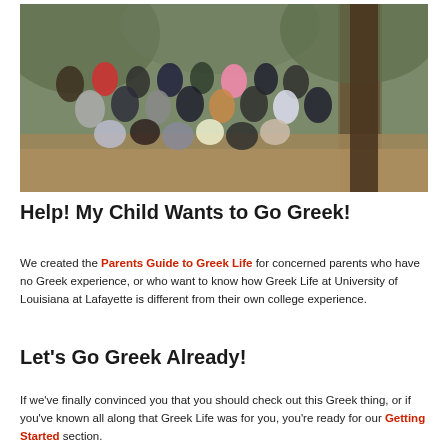[Figure (photo): Large group photo of students gathered outdoors in a wooded area, posing together for a group photo beneath pine trees. Many students are making hand signs and waving.]
Help! My Child Wants to Go Greek!
We created the Parents Guide to Greek Life for concerned parents who have no Greek experience, or who want to know how Greek Life at University of Louisiana at Lafayette is different from their own college experience.
Let's Go Greek Already!
If we've finally convinced you that you should check out this Greek thing, or if you've known all along that Greek Life was for you, you're ready for our Getting Started section.